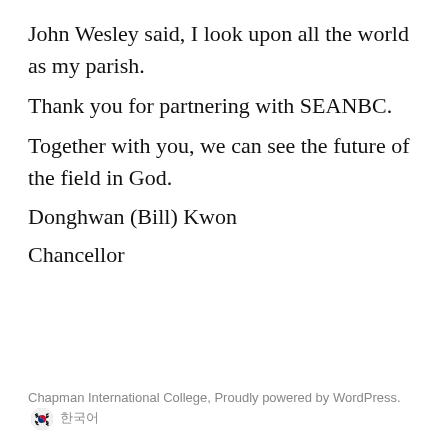John Wesley said, I look upon all the world as my parish. Thank you for partnering with SEANBC. Together with you, we can see the future of the field in God. Donghwan (Bill) Kwon Chancellor
Chapman International College, Proudly powered by WordPress. 🇰🇷 한국어